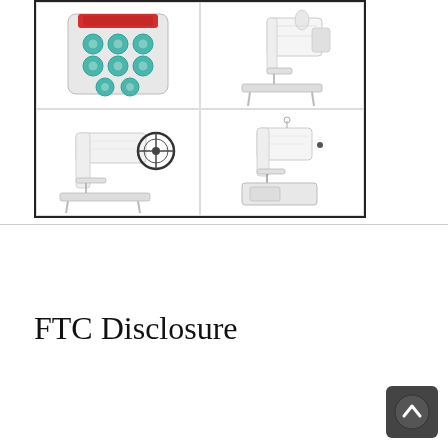[Figure (photo): A 2x2 grid of product images inside a black border: top-left shows green bobbins/spools in a bag, top-right shows an industrial sewing machine (light colored), bottom-left shows another industrial sewing machine with flywheel visible, bottom-right shows a third industrial sewing machine on a stand.]
FTC Disclosure